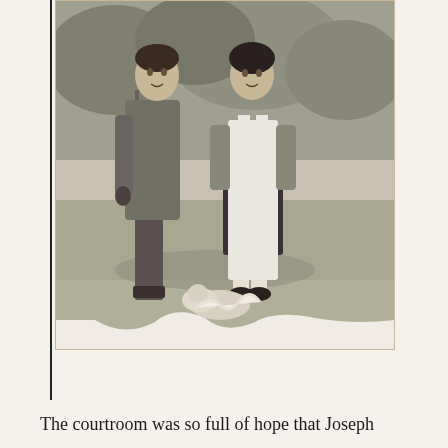[Figure (photo): A vintage black-and-white photograph showing two people standing outdoors on a lawn. On the left is a man wearing a jacket and trousers. On the right is a woman wearing a white apron over a dark dress. Trees and a fence are visible in the background. There appears to be a small animal (possibly a cat) lying on the grass in the foreground. The photo has a torn or damaged lower edge with some white material visible.]
The courtroom was so full of hope that Joseph